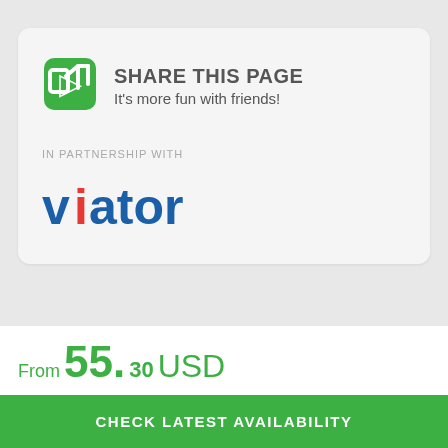[Figure (other): Share icon: green rounded square with a white bracket and arrow pointing right]
SHARE THIS PAGE
It's more fun with friends!
IN PARTNERSHIP WITH
[Figure (logo): Viator logo in blue text with red dot on the letter i]
From 55.30 USD
CHECK LATEST AVAILABILITY